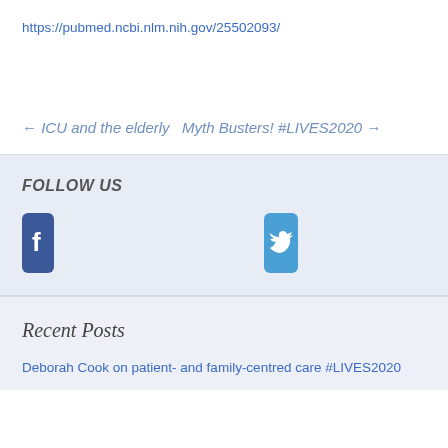https://pubmed.ncbi.nlm.nih.gov/25502093/
← ICU and the elderly   Myth Busters! #LIVES2020 →
FOLLOW US
[Figure (infographic): Three social media icons: Facebook (blue square with f), Twitter (blue square with bird), LinkedIn (blue square with in)]
Recent Posts
Deborah Cook on patient- and family-centred care #LIVES2020